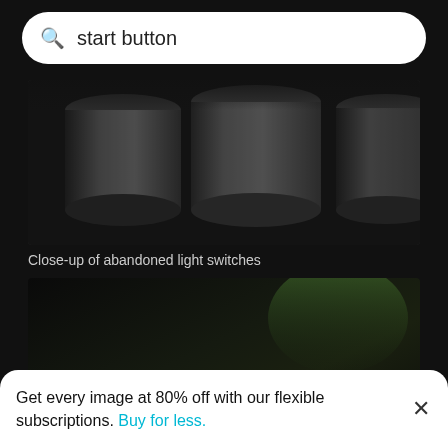start button
[Figure (photo): Close-up of abandoned light switches, dark metallic cylindrical switches on a dark background]
Close-up of abandoned light switches
[Figure (photo): Close-up of a gas stove burner with blue flame burning, dark background with slight green blur in background]
Get every image at 80% off with our flexible subscriptions. Buy for less.